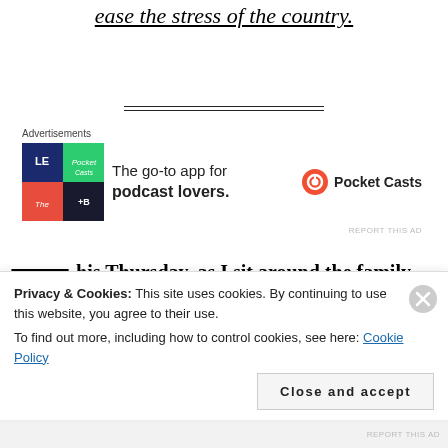ease the stress of the country.
[Figure (other): Advertisement: Pocket Casts app logo and tagline 'The go-to app for podcast lovers.']
This Thursday, as I sit around the family table with my precious family (and in spirit with all who won't be seated with us), I'll be reminded that...
Privacy & Cookies: This site uses cookies. By continuing to use this website, you agree to their use. To find out more, including how to control cookies, see here: Cookie Policy
Close and accept